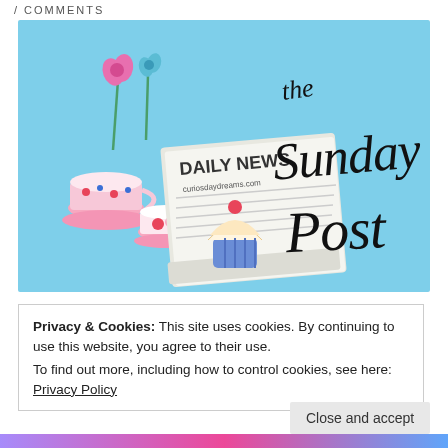/ COMMENTS
[Figure (logo): The Sunday Post blog logo on a light blue background. Features illustrated clipart of teacups, flowers, cupcake, and a folded newspaper reading 'DAILY NEWS curiosdaydreams.com'. Cursive handwritten text reads 'the Sunday Post'.]
Privacy & Cookies: This site uses cookies. By continuing to use this website, you agree to their use.
To find out more, including how to control cookies, see here: Privacy Policy
Close and accept